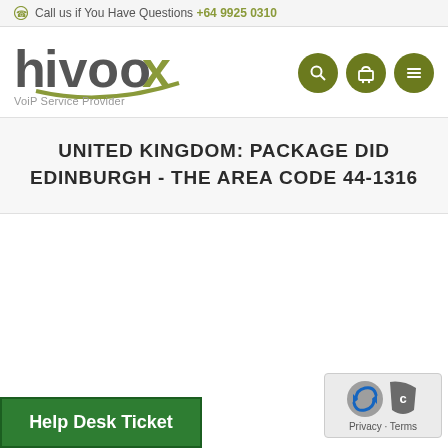Call us if You Have Questions +64 9925 0310
[Figure (logo): hivoox VoIP Service Provider logo with green and grey text]
UNITED KINGDOM: PACKAGE DID EDINBURGH - THE AREA CODE 44-1316
Help Desk Ticket
Privacy · Terms